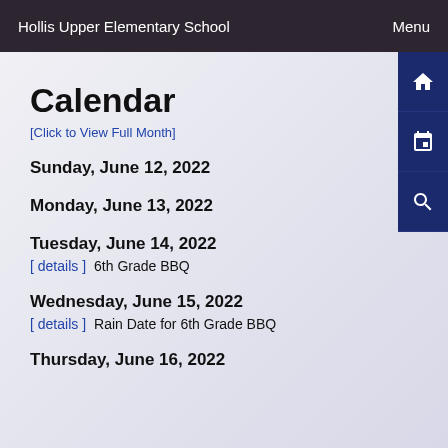Hollis Upper Elementary School   Menu
Calendar
[Click to View Full Month]
Sunday, June 12, 2022
Monday, June 13, 2022
Tuesday, June 14, 2022
[ details ]   6th Grade BBQ
Wednesday, June 15, 2022
[ details ]   Rain Date for 6th Grade BBQ
Thursday, June 16, 2022